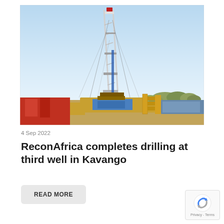[Figure (photo): A tall white drilling rig tower at an oil/gas well site under a clear blue sky, with yellow equipment, blue tarpaulins, and sparse trees visible in the background. The site has orange and red equipment visible on the left.]
4 Sep 2022
ReconAfrica completes drilling at third well in Kavango
READ MORE